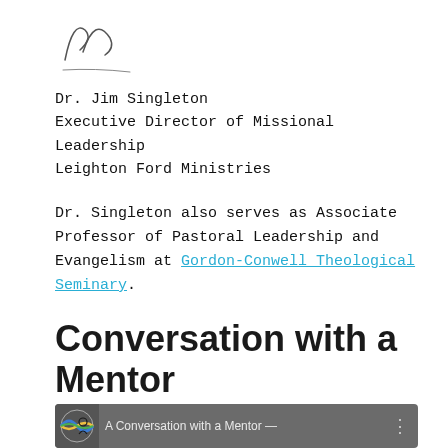[Figure (illustration): A handwritten signature in ink at the top of the page]
Dr. Jim Singleton
Executive Director of Missional Leadership
Leighton Ford Ministries
Dr. Singleton also serves as Associate Professor of Pastoral Leadership and Evangelism at Gordon-Conwell Theological Seminary.
Conversation with a Mentor
[Figure (screenshot): Video thumbnail showing 'A Conversation with a Mentor' with a logo and person silhouette on gray background]